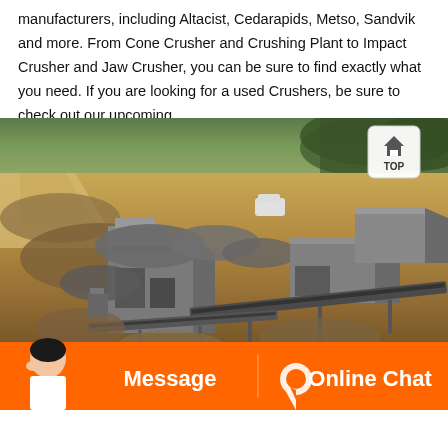manufacturers, including Altacist, Cedarapids, Metso, Sandvik and more. From Cone Crusher and Crushing Plant to Impact Crusher and Jaw Crusher, you can be sure to find exactly what you need. If you are looking for a used Crushers, be sure to check out our upcoming…
[Figure (photo): Aerial view of a quarry/crushing plant facility with industrial crusher buildings, conveyor belts, rock piles, and earthen terrain. A white vehicle is visible near the structures.]